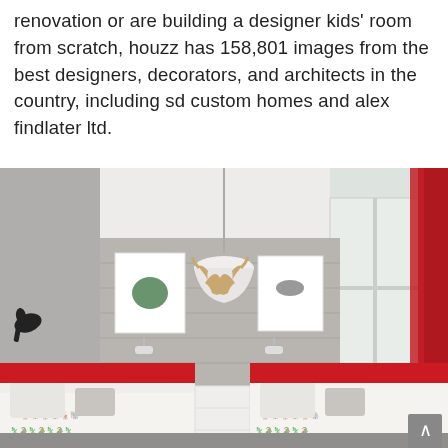renovation or are building a designer kids' room from scratch, houzz has 158,801 images from the best designers, decorators, and architects in the country, including sd custom homes and alex findlater ltd.
[Figure (photo): Interior photo of a designer children's bedroom with two twin beds featuring red headboards and patterned animal-print duvets, a grey wood-paneled accent wall, a mounted moose head decoration, two framed prints, wall sconce lights, a white pendant ceiling light, and red curtains near a large window. A small black rabbit or cat decorative object is mounted on the left wall.]